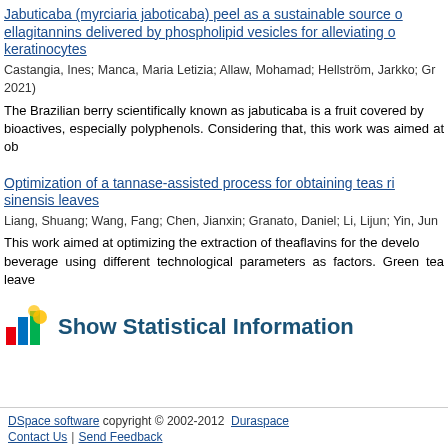Jabuticaba (myrciaria jaboticaba) peel as a sustainable source of ellagitannins delivered by phospholipid vesicles for alleviating oxidative stress in keratinocytes
Castangia, Ines; Manca, Maria Letizia; Allaw, Mohamad; Hellström, Jarkko; Gr... 2021)
The Brazilian berry scientifically known as jabuticaba is a fruit covered by... bioactives, especially polyphenols. Considering that, this work was aimed at ob...
Optimization of a tannase-assisted process for obtaining teas rich in theaflavins from Camellia sinensis leaves
Liang, Shuang; Wang, Fang; Chen, Jianxin; Granato, Daniel; Li, Lijun; Yin, Jun...
This work aimed at optimizing the extraction of theaflavins for the development of a functional beverage using different technological parameters as factors. Green tea leave...
Show Statistical Information
DSpace software copyright © 2002-2012  Duraspace | Contact Us | Send Feedback